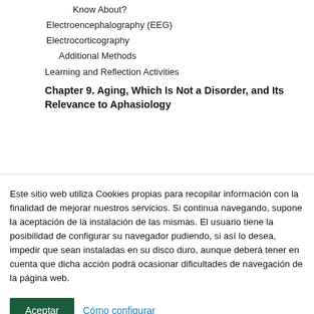Important for Aphasiologists to Know About?
Electroencephalography (EEG)
Electrocorticography
Additional Methods
Learning and Reflection Activities
Chapter 9. Aging, Which Is Not a Disorder, and Its Relevance to Aphasiology
Este sitio web utiliza Cookies propias para recopilar información con la finalidad de mejorar nuestros servicios. Si continua navegando, supone la aceptación de la instalación de las mismas. El usuario tiene la posibilidad de configurar su navegador pudiendo, si así lo desea, impedir que sean instaladas en su disco duro, aunque deberá tener en cuenta que dicha acción podrá ocasionar dificultades de navegación de la página web.
Aceptar   Cómo configurar